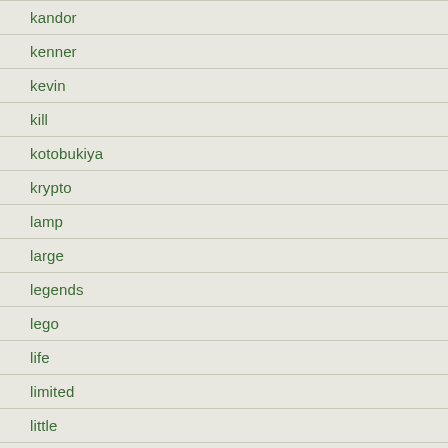kandor
kenner
kevin
kill
kotobukiya
krypto
lamp
large
legends
lego
life
limited
little
lobointergalactic